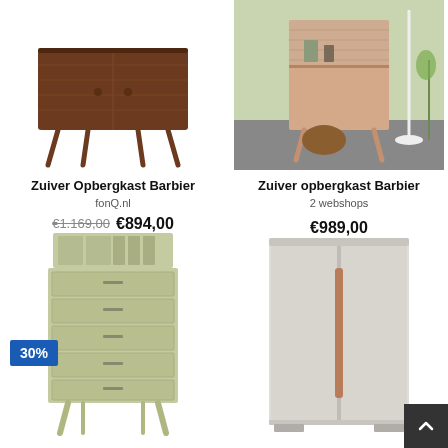[Figure (photo): Zuiver Opbergkast Barbier — dark walnut wood sideboard with angled legs on white background]
Zuiver Opbergkast Barbier
fonQ.nl
€1.169,00  €894,00
[Figure (photo): Zuiver opbergkast Barbier — light wood cabinet with open shelves in a room setting]
Zuiver opbergkast Barbier
2 webshops
€989,00
[Figure (photo): HKliving Kast secretairy — light green tall chest of drawers with secretary top section and angled legs, 30% discount badge]
30%
HKliving Kast secretairy
[Figure (photo): Leen Bakker Vinack 2 deurs — light grey two-door wardrobe with copper-tone handle strip]
Leen Bakker Vinack 2 deurs